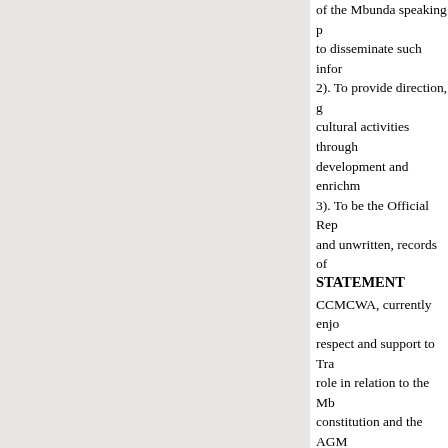of the Mbunda speaking p to disseminate such infor
2). To provide direction, g cultural activities through development and enrichm
3). To be the Official Rep and unwritten, records of
STATEMENT
CCMCWA, currently enjo respect and support to Tra role in relation to the Mb constitution and the AGM given to the various Chie or implementation of the directives to the Associati issue statements or write constitutional right of eve otherwise to champion hi corporate like Cheke Cha
In this regard Cheke Cha regarding establishment o